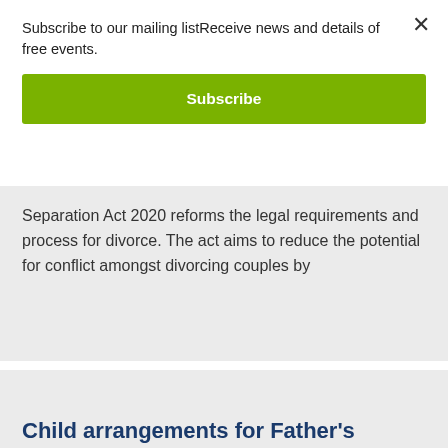Subscribe to our mailing listReceive news and details of free events.
Subscribe
Separation Act 2020 reforms the legal requirements and process for divorce. The act aims to reduce the potential for conflict amongst divorcing couples by
Child arrangements for Father's